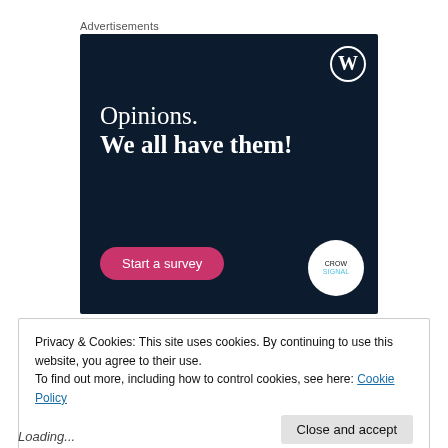Advertisements
[Figure (screenshot): WordPress/Crowdsignal advertisement with dark navy background. Shows WordPress 'W' logo top right, text 'Opinions. We all have them!', a pink 'Start a survey' button bottom left, and Crowdsignal circular logo bottom right.]
Privacy & Cookies: This site uses cookies. By continuing to use this website, you agree to their use.
To find out more, including how to control cookies, see here: Cookie Policy
Close and accept
Loading...